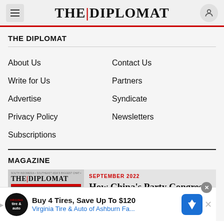THE DIPLOMAT
THE DIPLOMAT
About Us
Contact Us
Write for Us
Partners
Advertise
Syndicate
Privacy Policy
Newsletters
Subscriptions
MAGAZINE
[Figure (photo): The Diplomat magazine cover, September 2022]
SEPTEMBER 2022
How China's Party Congress…
[Figure (infographic): Advertisement banner: Buy 4 Tires, Save Up To $120 - Virginia Tire & Auto of Ashburn Fa.]